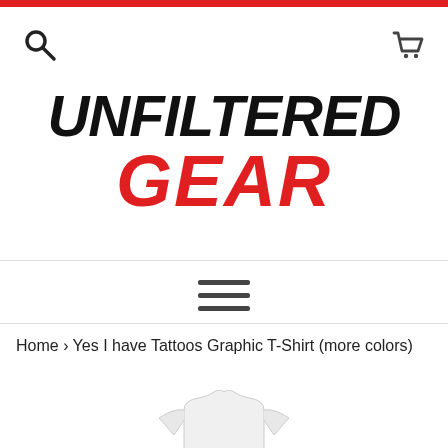Red top bar
[Figure (logo): UNFILTERED GEAR logo with 'UNFILTERED' in black bold italic and 'GEAR' in red bold italic below]
Home › Yes I have Tattoos Graphic T-Shirt (more colors)
[Figure (photo): Partial view of a white graphic t-shirt at the bottom of the page]